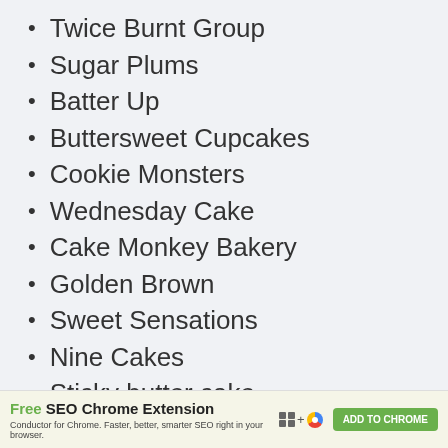Twice Burnt Group
Sugar Plums
Batter Up
Buttersweet Cupcakes
Cookie Monsters
Wednesday Cake
Cake Monkey Bakery
Golden Brown
Sweet Sensations
Nine Cakes
Sticky butter cake
Grill Dry Pro
Free SEO Chrome Extension — Conductor for Chrome. Faster, better, smarter SEO right in your browser. ADD TO CHROME